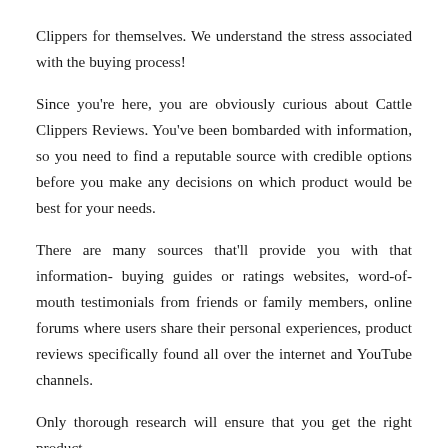Clippers for themselves. We understand the stress associated with the buying process! Since you're here, you are obviously curious about Cattle Clippers Reviews. You've been bombarded with information, so you need to find a reputable source with credible options before you make any decisions on which product would be best for your needs. There are many sources that'll provide you with that information- buying guides or ratings websites, word-of-mouth testimonials from friends or family members, online forums where users share their personal experiences, product reviews specifically found all over the internet and YouTube channels. Only thorough research will ensure that you get the right product.